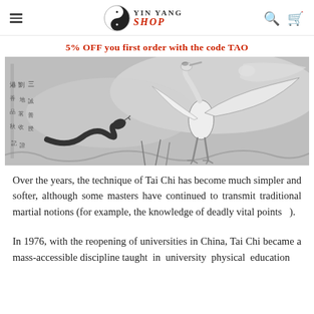YIN YANG SHOP
5% OFF you first order with the code TAO
[Figure (photo): Black and white ink painting of a crane and a snake, with Chinese calligraphy on the left side. The crane stands tall with wings spread, while a snake coils beneath it.]
Over the years, the technique of Tai Chi has become much simpler and softer, although some masters have continued to transmit traditional martial notions (for example, the knowledge of deadly vital points   ).
In 1976, with the reopening of universities in China, Tai Chi became a mass-accessible discipline taught in university physical education